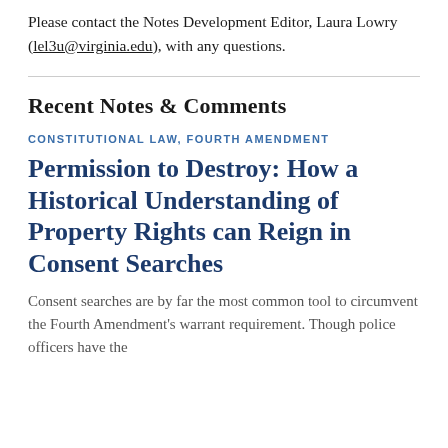Please contact the Notes Development Editor, Laura Lowry (lel3u@virginia.edu), with any questions.
Recent Notes & Comments
CONSTITUTIONAL LAW, FOURTH AMENDMENT
Permission to Destroy: How a Historical Understanding of Property Rights can Reign in Consent Searches
Consent searches are by far the most common tool to circumvent the Fourth Amendment's warrant requirement. Though police officers have the